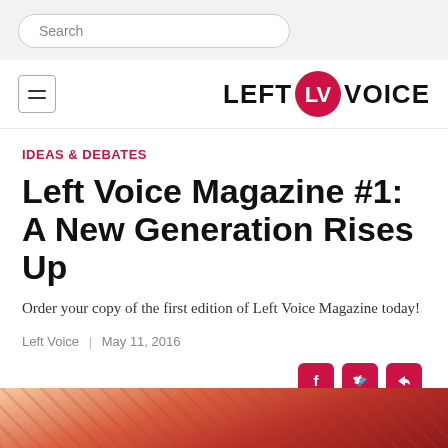Search
[Figure (logo): Left Voice logo with hamburger menu icon]
IDEAS & DEBATES
Left Voice Magazine #1: A New Generation Rises Up
Order your copy of the first edition of Left Voice Magazine today!
Left Voice  |  May 11, 2016
[Figure (illustration): Bottom image strip with reddish-orange illustrated artwork]